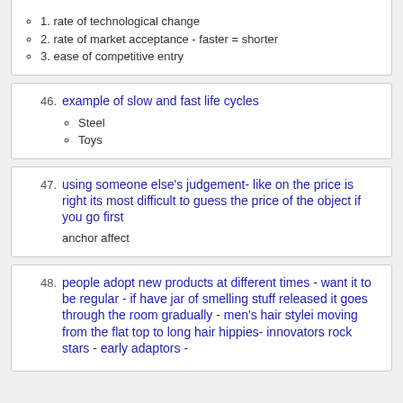1. rate of technological change
2. rate of market acceptance - faster = shorter
3. ease of competitive entry
46. example of slow and fast life cycles
Steel
Toys
47. using someone else's judgement- like on the price is right its most difficult to guess the price of the object if you go first
anchor affect
48. people adopt new products at different times - want it to be regular - if have jar of smelling stuff released it goes through the room gradually - men's hair stylei moving from the flat top to long hair hippies- innovators rock stars - early adaptors -